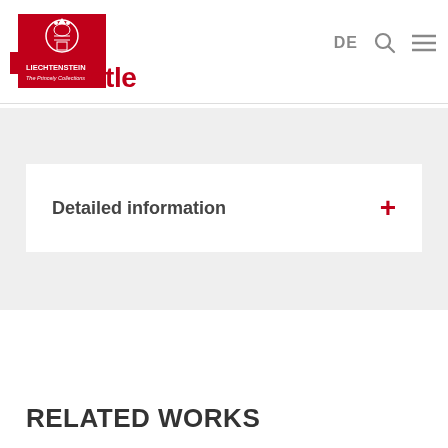[Figure (logo): Liechtenstein The Princely Collections logo with red square background and coat of arms crest]
stle
DE
Detailed information
RELATED WORKS